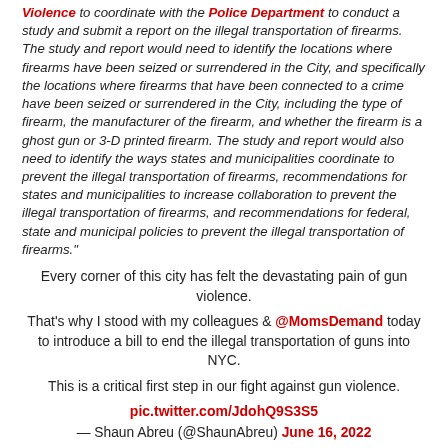Violence to coordinate with the Police Department to conduct a study and submit a report on the illegal transportation of firearms. The study and report would need to identify the locations where firearms have been seized or surrendered in the City, and specifically the locations where firearms that have been connected to a crime have been seized or surrendered in the City, including the type of firearm, the manufacturer of the firearm, and whether the firearm is a ghost gun or 3-D printed firearm. The study and report would also need to identify the ways states and municipalities coordinate to prevent the illegal transportation of firearms, recommendations for states and municipalities to increase collaboration to prevent the illegal transportation of firearms, and recommendations for federal, state and municipal policies to prevent the illegal transportation of firearms."
Every corner of this city has felt the devastating pain of gun violence.
That's why I stood with my colleagues & @MomsDemand today to introduce a bill to end the illegal transportation of guns into NYC.
This is a critical first step in our fight against gun violence.
pic.twitter.com/JdohQ9S3S5
— Shaun Abreu (@ShaunAbreu) June 16, 2022